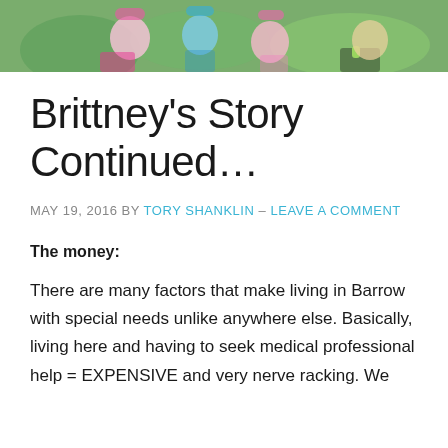[Figure (photo): Colorful outdoor photo strip showing people with face paint at what appears to be a fun run or outdoor event, with green grass in the background.]
Brittney's Story Continued…
MAY 19, 2016 BY TORY SHANKLIN – LEAVE A COMMENT
The money:
There are many factors that make living in Barrow with special needs unlike anywhere else. Basically, living here and having to seek medical professional help = EXPENSIVE and very nerve racking. We